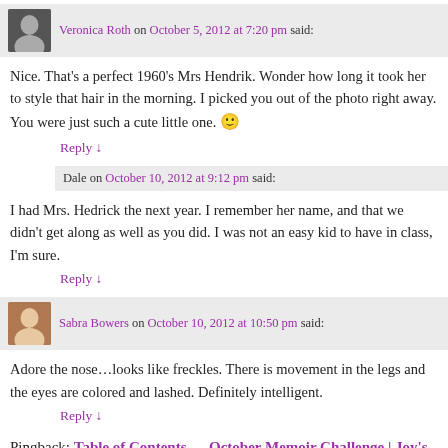Veronica Roth on October 5, 2012 at 7:20 pm said:
Nice. That's a perfect 1960's Mrs Hendrik. Wonder how long it took her to style that hair in the morning. I picked you out of the photo right away. You were just such a cute little one. 🙂
Reply ↓
Dale on October 10, 2012 at 9:12 pm said:
I had Mrs. Hedrick the next year. I remember her name, and that we didn't get along as well as you did. I was not an easy kid to have in class, I'm sure.
Reply ↓
Sabra Bowers on October 10, 2012 at 10:50 pm said:
Adore the nose…looks like freckles. There is movement in the legs and the eyes are colored and lashed. Definitely intelligent.
Reply ↓
Pingback: Table of Contents — October Memoir Challenge | Joy's Book Blog